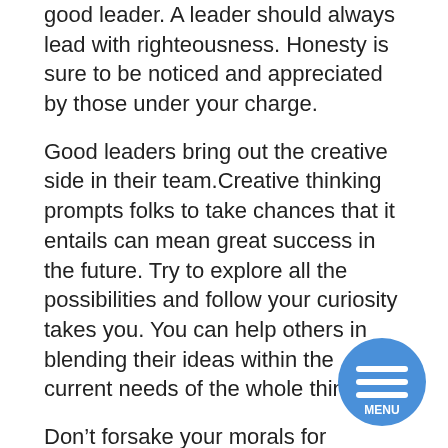good leader. A leader should always lead with righteousness. Honesty is sure to be noticed and appreciated by those under your charge.
Good leaders bring out the creative side in their team.Creative thinking prompts folks to take chances that it entails can mean great success in the future. Try to explore all the possibilities and follow your curiosity takes you. You can help others in blending their ideas within the current needs of the whole thing.
Don’t forsake your morals for competition. If your competition is behaving in an uncomfortable manner, do not follow along. You don’t have to sink lower than they are. You will feel a whole lot better when you find other ways to compete with them.
Offer rewards for high quality work.Everyone receives
[Figure (illustration): A circular blue menu button with three horizontal white lines and the text MENU below them, positioned in the bottom right area of the page.]